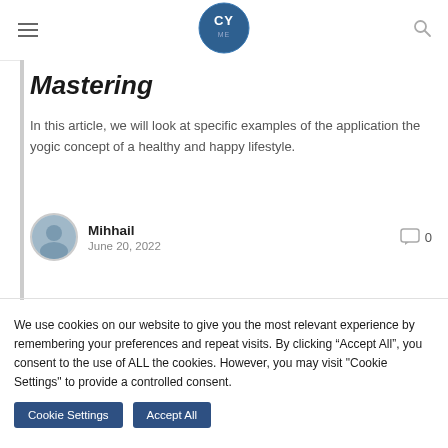[Figure (logo): CY ME logo — circular dark blue badge with 'CY' text and 'ME' inside, centered in the header]
Mastering
In this article, we will look at specific examples of the application the yogic concept of a healthy and happy lifestyle.
Mihhail
June 20, 2022
0 comments
We use cookies on our website to give you the most relevant experience by remembering your preferences and repeat visits. By clicking “Accept All”, you consent to the use of ALL the cookies. However, you may visit "Cookie Settings" to provide a controlled consent.